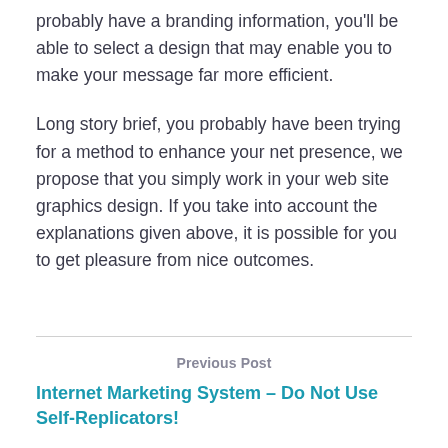probably have a branding information, you'll be able to select a design that may enable you to make your message far more efficient.
Long story brief, you probably have been trying for a method to enhance your net presence, we propose that you simply work in your web site graphics design. If you take into account the explanations given above, it is possible for you to get pleasure from nice outcomes.
Previous Post
Internet Marketing System – Do Not Use Self-Replicators!